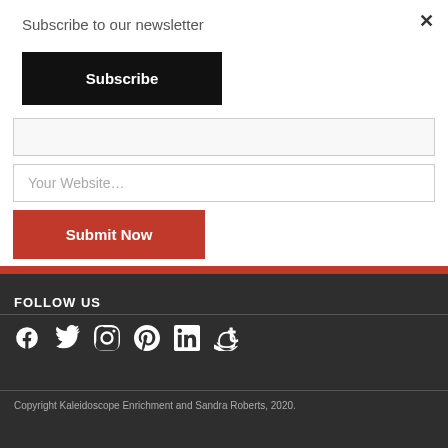Subscribe to our newsletter
Subscribe
Your Website…
Submit Now
FOLLOW US
[Figure (illustration): Social media icons: Facebook, Twitter, Instagram, Pinterest, LinkedIn, Amazon]
Copyright Kaleidoscope Enrichment and Sandra Roberts, 2020.